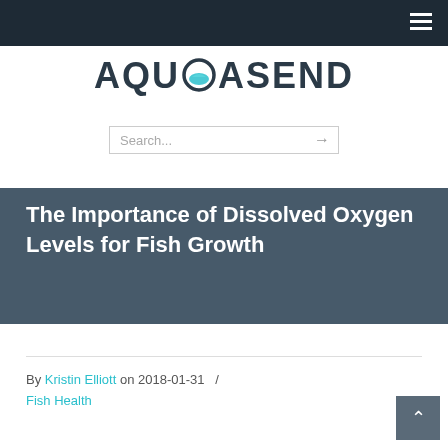AQUASEND [navigation bar with hamburger menu]
[Figure (logo): AQUASEND logo with a fish/water bowl icon replacing the O, in dark blue-gray text]
Search...
The Importance of Dissolved Oxygen Levels for Fish Growth
By Kristin Elliott on 2018-01-31   /   Fish Health